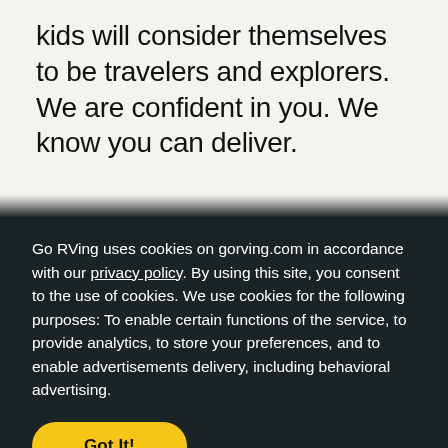kids will consider themselves to be travelers and explorers. We are confident in you. We know you can deliver.
Go RVing uses cookies on gorving.com in accordance with our privacy policy. By using this site, you consent to the use of cookies. We use cookies for the following purposes: To enable certain functions of the service, to provide analytics, to store your preferences, and to enable advertisements delivery, including behavioral advertising.
Got It!